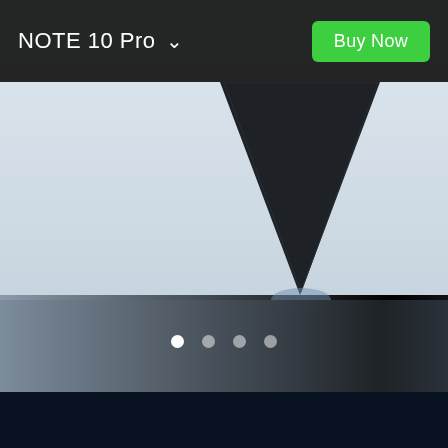NOTE 10 Pro
Buy Now
[Figure (photo): A close-up product shot of the NOTE 10 Pro smartphone showing the corner and back of the device against a light blue/silver gradient background, with a dark right panel creating a shadow effect. The image is a marketing/hero image for the NOTE 10 Pro.]
• • • • (carousel navigation dots, first dot active/white, others grey)